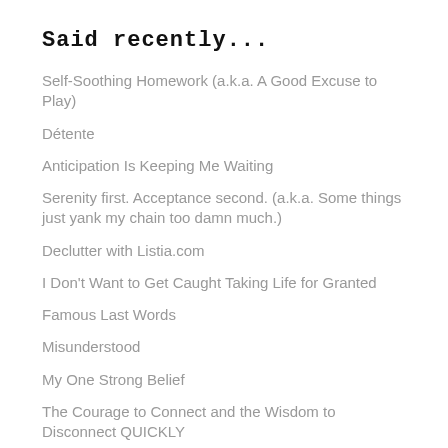Said recently...
Self-Soothing Homework (a.k.a. A Good Excuse to Play)
Détente
Anticipation Is Keeping Me Waiting
Serenity first. Acceptance second. (a.k.a. Some things just yank my chain too damn much.)
Declutter with Listia.com
I Don't Want to Get Caught Taking Life for Granted
Famous Last Words
Misunderstood
My One Strong Belief
The Courage to Connect and the Wisdom to Disconnect QUICKLY